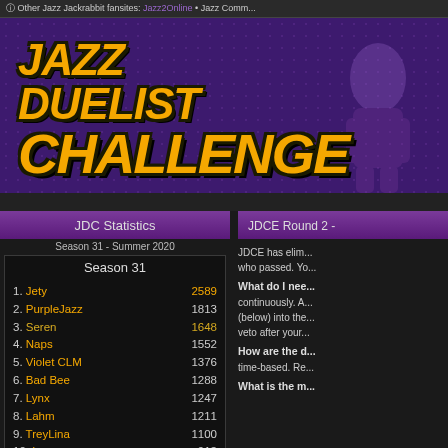Other Jazz Jackrabbit fansites: Jazz2Online • Jazz Comm...
[Figure (illustration): Jazz Duelist Challenge logo banner with orange bold italic text on purple dotted background with character silhouette]
JDC Statistics
Season 31 - Summer 2020
| Season 31 |  |
| --- | --- |
| 1. Jety | 2589 |
| 2. PurpleJazz | 1813 |
| 3. Seren | 1648 |
| 4. Naps | 1552 |
| 5. Violet CLM | 1376 |
| 6. Bad Bee | 1288 |
| 7. Lynx | 1247 |
| 8. Lahm | 1211 |
| 9. TreyLina | 1100 |
| 10. L a s e r | 912 |
| 11. XxMoNsTeR | 873 |
JDCE Round 2 -
JDCE has elim... who passed. Yo...
What do I nee... continuously. A... (below) into the... veto after your...
How are the d... time-based. Re...
What is the m...